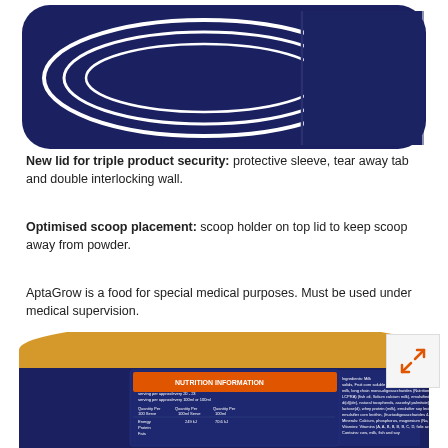[Figure (photo): Top portion of an AptaGrow product container lid showing dark navy blue rounded rectangular container top with white concentric oval lines and a dividing line in the center]
New lid for triple product security: protective sleeve, tear away tab and double interlocking wall.
Optimised scoop placement: scoop holder on top lid to keep scoop away from powder.
AptaGrow is a food for special medical purposes. Must be used under medical supervision.
[Figure (photo): Bottom portion of AptaGrow product container showing a golden/yellow lid on top of a dark navy blue cylindrical tub with a Nutrition Information panel on the side, partly visible ingredients list and other packaging text. An orange expand/fullscreen button icon is shown overlaid in the bottom right area.]